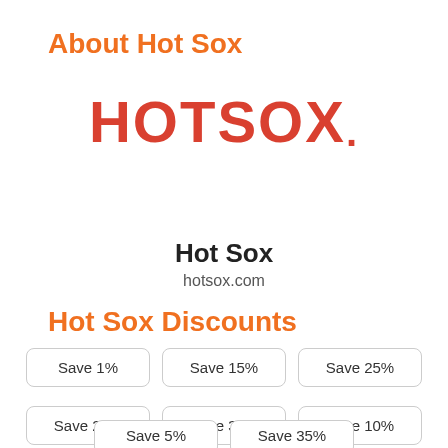About Hot Sox
[Figure (logo): HOTSOX. logo in bold red/dark-red uppercase letters with a period at the end]
Hot Sox
hotsox.com
Hot Sox Discounts
Save 1%
Save 15%
Save 25%
Save 20%
Save 30%
Save 10%
Save 5%
Save 35%